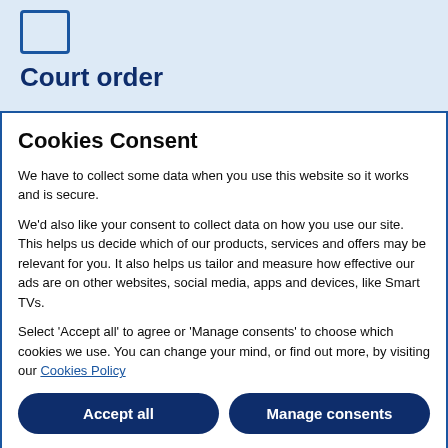[Figure (illustration): Blue outlined rectangle icon (document/court order icon) on a light blue background]
Court order
Cookies Consent
We have to collect some data when you use this website so it works and is secure.
We'd also like your consent to collect data on how you use our site. This helps us decide which of our products, services and offers may be relevant for you. It also helps us tailor and measure how effective our ads are on other websites, social media, apps and devices, like Smart TVs.
Select 'Accept all' to agree or 'Manage consents' to choose which cookies we use. You can change your mind, or find out more, by visiting our Cookies Policy